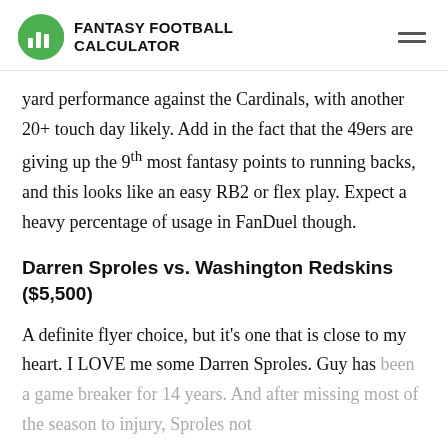FANTASY FOOTBALL CALCULATOR
yard performance against the Cardinals, with another 20+ touch day likely. Add in the fact that the 49ers are giving up the 9th most fantasy points to running backs, and this looks like an easy RB2 or flex play. Expect a heavy percentage of usage in FanDuel though.
Darren Sproles vs. Washington Redskins ($5,500)
A definite flyer choice, but it's one that is close to my heart. I LOVE me some Darren Sproles. Guy has been a game breaker for 14 years. And after missing most of the season to injury, Sproles not